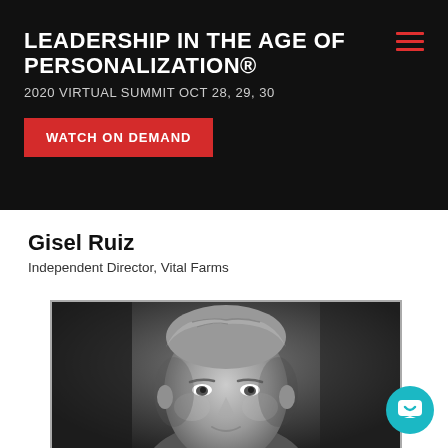LEADERSHIP IN THE AGE OF PERSONALIZATION® 2020 VIRTUAL SUMMIT OCT 28, 29, 30
WATCH ON DEMAND
Gisel Ruiz
Independent Director, Vital Farms
[Figure (photo): Black and white portrait photograph of a man with slicked-back grey hair, smiling slightly, against a dark background]